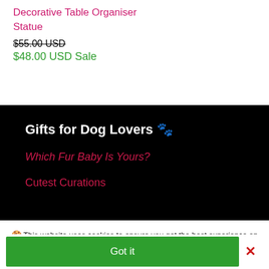Decorative Table Organiser
Statue
$55.00 USD (strikethrough)
$48.00 USD Sale
Gifts for Dog Lovers 🐾
Which Fur Baby Is Yours?
Cutest Curations
🍪 This website uses cookies to ensure you get the best experience on our website. Learn more
Got it